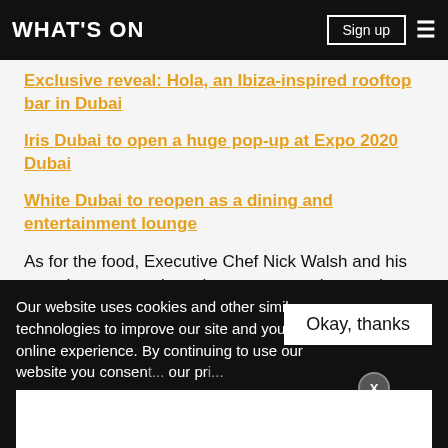WHAT'S ON
Exclusive reveal: Hola, an Ibiza-inspired rooftop bar in Dubai
Iris Dubai to open a huge pop-up at Expo 2020 Dubai
White Dubai to reopen as a dining and entertainment lounge
As for the food, Executive Chef Nick Walsh and his team have curated a unique gastronomic experience for guests.
The menu will feature a mouth-watering selection of
Our website uses cookies and other similar technologies to improve our site and your online experience. By continuing to use our website you consen... our pr...